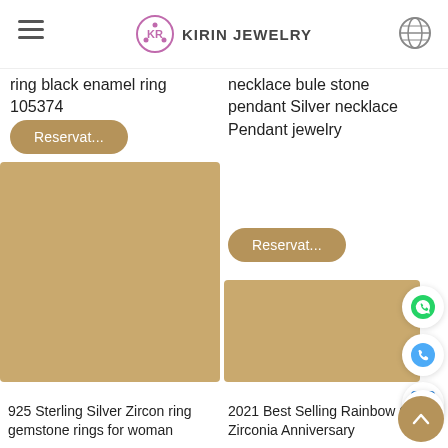KIRIN JEWELRY
ring black enamel ring 105374
necklace bule stone pendant Silver necklace Pendant jewelry
[Figure (photo): Gold/tan product image area for zircon ring]
[Figure (photo): Gold/tan product image area for rainbow cubic zirconia]
925 Sterling Silver Zircon ring gemstone rings for woman
2021 Best Selling Rainbow Cubic Zirconia Anniversary